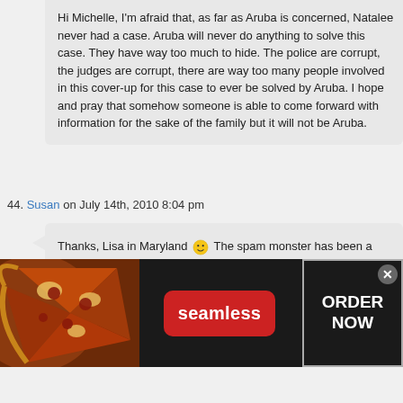Hi Michelle, I'm afraid that, as far as Aruba is concerned, Natalee never had a case. Aruba will never do anything to solve this case. They have way too much to hide. The police are corrupt, the judges are corrupt, there are way too many people involved in this cover-up for this case to ever be solved by Aruba. I hope and pray that somehow someone is able to come forward with information for the sake of the family but it will not be Aruba.
44. Susan on July 14th, 2010 8:04 pm
Thanks, Lisa in Maryland 😊 The spam monster has been a very, very bad critter lately…lol!
45. USS Yorktown on July 14th, 2010 8:11 pm
Aruba investing itself is like having South Hadley investigating itself following Phoebe Prince's suicide.
[Figure (screenshot): Seamless food delivery advertisement banner with pizza image on left, seamless logo in center on red badge, and ORDER NOW button on right]